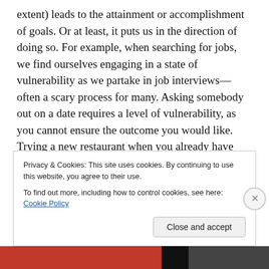extent) leads to the attainment or accomplishment of goals. Or at least, it puts us in the direction of doing so. For example, when searching for jobs, we find ourselves engaging in a state of vulnerability as we partake in job interviews—often a scary process for many. Asking somebody out on a date requires a level of vulnerability, as you cannot ensure the outcome you would like. Trying a new restaurant when you already have your top three go-to places also involves being vulnerable because you have no idea whether or not you'll enjoy the food and dining experience.
Privacy & Cookies: This site uses cookies. By continuing to use this website, you agree to their use. To find out more, including how to control cookies, see here: Cookie Policy